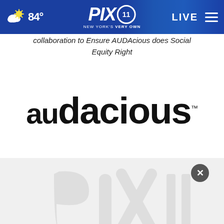84° PIX11 NEW YORK'S VERY OWN LIVE
collaboration to Ensure AUDAcious does Social Equity Right
[Figure (logo): AUDACIOUS brand logo in large black bold text with trademark symbol]
[Figure (logo): PIX11 watermark logo visible at bottom in gray overlay section with close button]